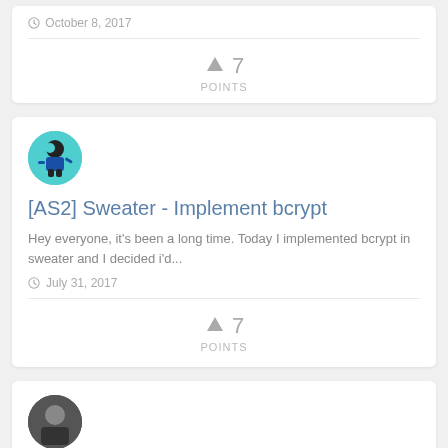October 8, 2017
7 POINTS
[AS2] Sweater - Implement bcrypt
Hey everyone, it's been a long time. Today I implemented bcrypt in sweater and I decided i'd...
July 31, 2017
7 POINTS